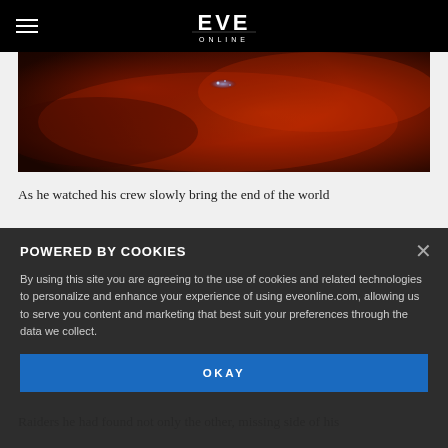EVE Online
[Figure (screenshot): EVE Online space scene showing a spaceship against a red/orange nebula background]
As he watched his crew slowly bring the end of the world
POWERED BY COOKIES

By using this site you are agreeing to the use of cookies and related technologies to personalize and enhance your experience of using eveonline.com, allowing us to serve you content and marketing that best suit your preferences through the data we collect.

OKAY
Raiders he had found not only the other, missing side of his